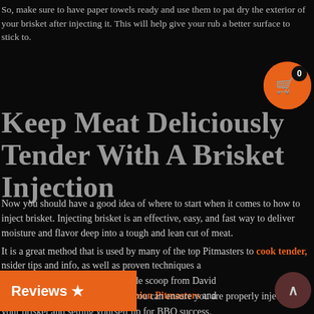So, make sure to have paper towels ready and use them to pat dry the exterior of your brisket after injecting it. This will help give your rub a better surface to stick to.
[Figure (other): Orange circular cart/shopping button with a cart icon and badge showing '0']
Keep Meat Deliciously Tender With A Brisket Injection
Now you should have a good idea of where to start when it comes to how to inject brisket. Injecting brisket is an effective, easy, and fast way to deliver moisture and flavor deep into a tough and lean cut of meat.
It is a great method that is used by many of the top Pitmasters to cook tender, juicy brisket every time. Don't be afraid to get creative with your injection ingredients and flavors, whether it's a homemade recipe or pre-made mix.
But, by following the tips above, you can ensure you are properly injecting your brisket and setting yourself up for BBQ success.
insider tips and info, as well as proven techniques and bque secrets? You can get the inside scoop from David rt, Robby Royal, and more Champion Pitmasters and
[Figure (other): Orange 'Reviews' badge with star icon on bottom left]
[Figure (other): Dark red/brown circular scroll-to-top arrow button on bottom right]